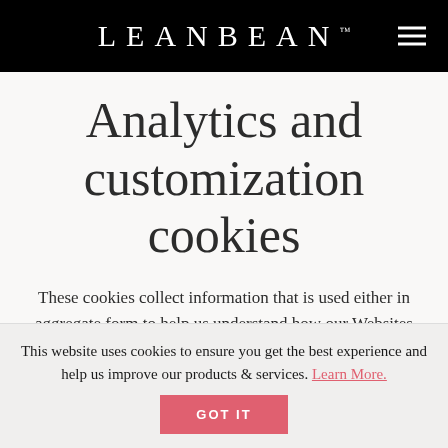LEANBEAN™
Analytics and customization cookies
These cookies collect information that is used either in aggregate form to help us understand how our Websites are being used or how effective our marketing
This website uses cookies to ensure you get the best experience and help us improve our products & services. Learn More.
GOT IT